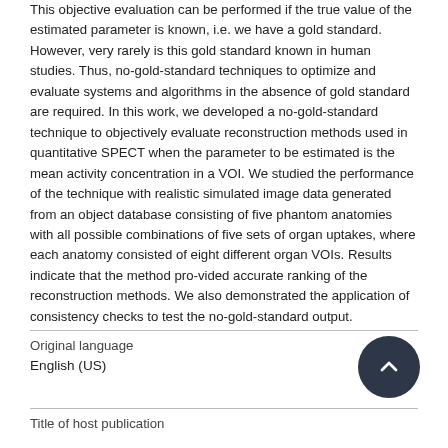This objective evaluation can be performed if the true value of the estimated parameter is known, i.e. we have a gold standard. However, very rarely is this gold standard known in human studies. Thus, no-gold-standard techniques to optimize and evaluate systems and algorithms in the absence of gold standard are required. In this work, we developed a no-gold-standard technique to objectively evaluate reconstruction methods used in quantitative SPECT when the parameter to be estimated is the mean activity concentration in a VOI. We studied the performance of the technique with realistic simulated image data generated from an object database consisting of five phantom anatomies with all possible combinations of five sets of organ uptakes, where each anatomy consisted of eight different organ VOIs. Results indicate that the method pro-vided accurate ranking of the reconstruction methods. We also demonstrated the application of consistency checks to test the no-gold-standard output.
| Original language |  |
| --- | --- |
| English (US) |  |
| Title of host publication |  |